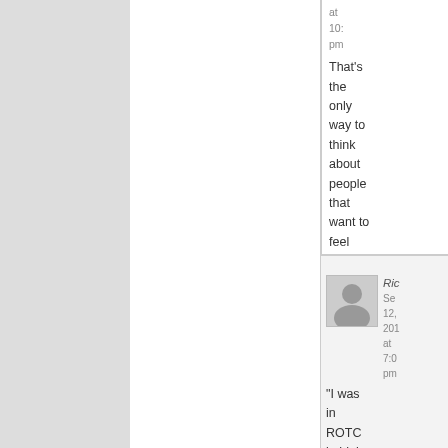at 10: pm
That's the only way to think about people that want to feel importa
Ric
Sep 12, 201 at 7:0 pm
"I was in ROTC in high